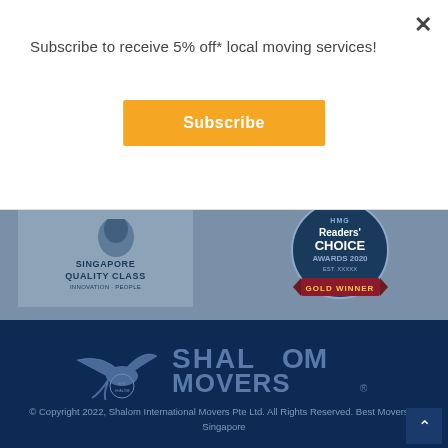Subscribe to receive 5% off* local moving services!
Subscribe
[Figure (logo): Singapore Quality Class - Innovation + People badge]
[Figure (logo): HMG Readers' Choice Awards 2020 Gold Winner badge]
[Figure (logo): Shalom Movers logo with bird and text 'Since 1982, The Trusted Name For Moving and Storage']
© Copyright 2022, Shalom International Movers Pte Ltd. All Rights Reserved. Best Movers in Singapore